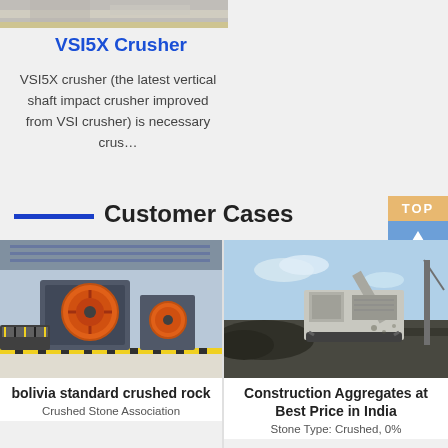[Figure (photo): Partial view of industrial machinery/conveyor equipment at the top of the page]
VSI5X Crusher
VSI5X crusher (the latest vertical shaft impact crusher improved from VSI crusher) is necessary crus…
Customer Cases
[Figure (photo): Jaw crusher machine in an industrial factory hall with orange flywheel]
bolivia standard crushed rock
Crushed Stone Association
[Figure (photo): Mobile crushing/screening plant at a mining site outdoors]
Construction Aggregates at Best Price in India
Stone Type: Crushed, 0%